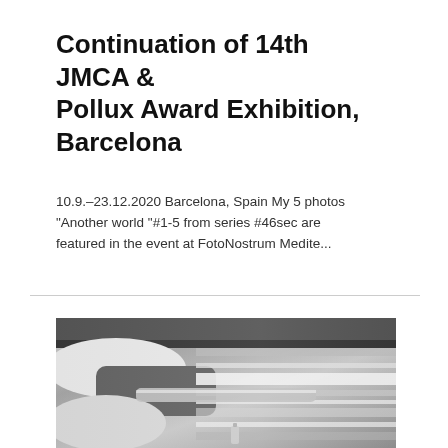Continuation of 14th JMCA & Pollux Award Exhibition, Barcelona
10.9.–23.12.2020 Barcelona, Spain My 5 photos "Another world "#1-5 from series #46sec are featured in the event at FotoNostrum Medite...
[Figure (photo): Black and white motion-blurred photograph showing a person sitting, likely on a train or vehicle, with horizontal motion blur streaks in the background and foreground metallic elements visible.]